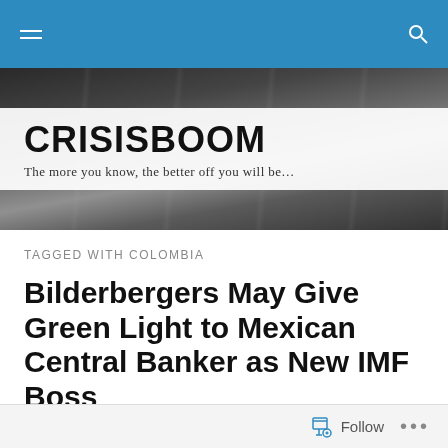[Figure (screenshot): Blue navigation bar at top with hamburger menu icon on left and search icon on right]
[Figure (photo): Dark banner/header image showing metallic or stone textured background]
CRISISBOOM
The more you know, the better off you will be…
TAGGED WITH COLOMBIA
Bilderbergers May Give Green Light to Mexican Central Banker as New IMF Boss
infowars
Follow